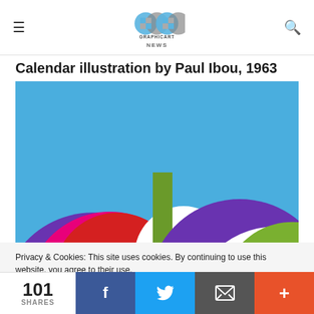Graphicart News
Calendar illustration by Paul Ibou, 1963
[Figure (illustration): Colorful geometric calendar illustration by Paul Ibou, 1963. Abstract overlapping semicircles/arcs in purple, magenta/pink, red, white, green and dark green against a bright blue sky background.]
Privacy & Cookies: This site uses cookies. By continuing to use this website, you agree to their use.
To find out more, including how to control cookies, see here: Cookie Policy
101 SHARES | Facebook | Twitter | Email | More